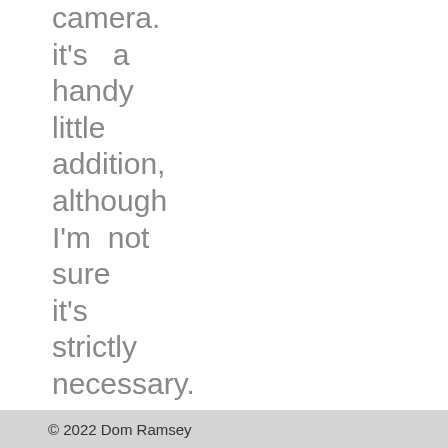camera. it's a handy little addition, although I'm not sure it's strictly necessary.

One thing I
© 2022 Dom Ramsey